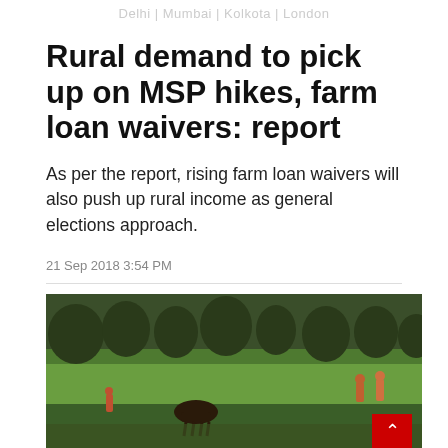Delhi | Mumbai | Kolkota | London
Rural demand to pick up on MSP hikes, farm loan waivers: report
As per the report, rising farm loan waivers will also push up rural income as general elections approach.
21 Sep 2018 3:54 PM
[Figure (photo): Farmers working in a flooded paddy field, with people and cattle visible, green landscape in background]